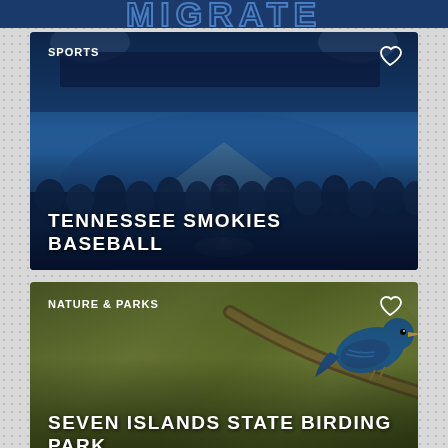[Figure (screenshot): Partial header strip showing large blue block letters of a travel/tourism app name]
[Figure (photo): Sports card showing Tennessee Smokies baseball stadium at night with blue tint, players on the field, crowd in stands. Category label: SPORTS. Heart/favorite icon top right. Title: TENNESSEE SMOKIES BASEBALL]
[Figure (photo): Nature & Parks card showing a blue bird perched on a branch with an olive/green blurred background. Category label: NATURE & PARKS. Heart/favorite icon top right. Title: SEVEN ISLANDS STATE BIRDING PARK]